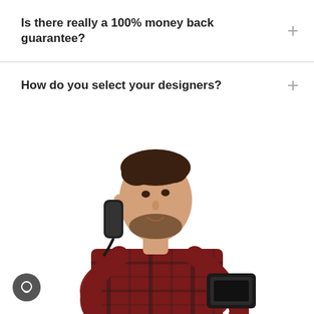Is there really a 100% money back guarantee?
How do you select your designers?
[Figure (photo): A young man with a beard wearing a red plaid shirt, talking on a black office telephone while holding another device, photographed against a white background.]